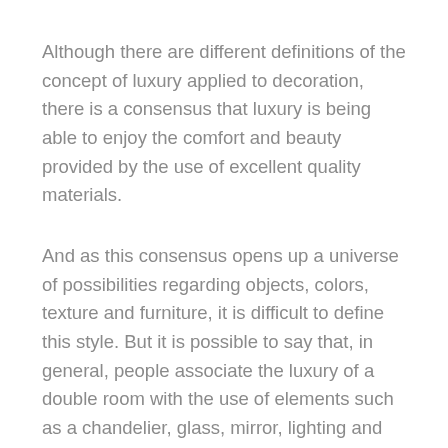Although there are different definitions of the concept of luxury applied to decoration, there is a consensus that luxury is being able to enjoy the comfort and beauty provided by the use of excellent quality materials.
And as this consensus opens up a universe of possibilities regarding objects, colors, texture and furniture, it is difficult to define this style. But it is possible to say that, in general, people associate the luxury of a double room with the use of elements such as a chandelier, glass, mirror, lighting and other materials that create that kind of room that seems to exist only in the film.
In this sense, depending on the type of material used and the intended end result, this style of